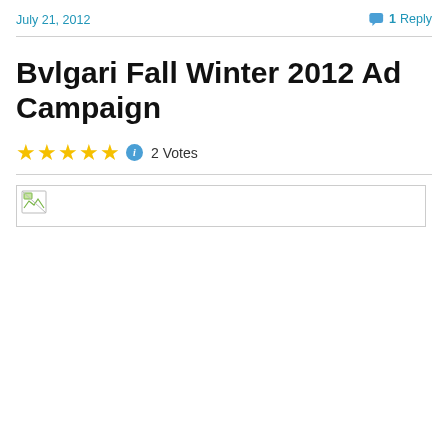July 21, 2012
1 Reply
Bvlgari Fall Winter 2012 Ad Campaign
★★★★★ ℹ 2 Votes
[Figure (photo): Broken image placeholder for Bvlgari Fall Winter 2012 Ad Campaign]